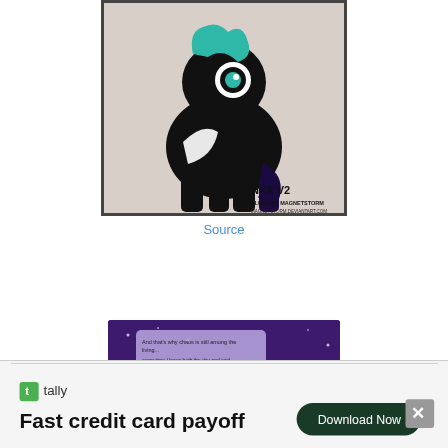[Figure (photo): A black plush pony toy (Nyx V2) with teal/cyan hair streaks and large eyes, photographed against a light background. Watermark reads 'NYX V2 PLUSH BY MAGNETSTORM MAGNETSTORM.DEVIANTART.COM']
Source
[Figure (screenshot): A screenshot of an animated My Little Pony style scene with purple background, showing pony characters with speech bubbles]
[Figure (screenshot): Advertisement banner: Tally - Fast credit card payoff, with Download Now button]